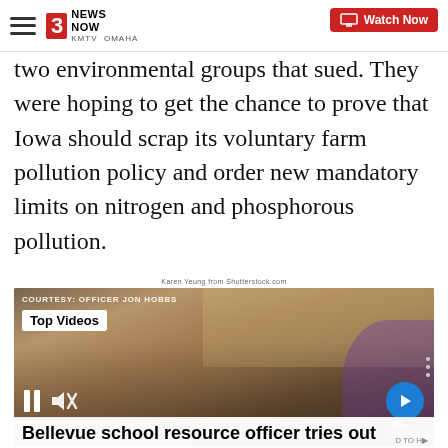3 News Now KMTV Omaha | Watch Now
two environmental groups that sued. They were hoping to get the chance to prove that Iowa should scrap its voluntary farm pollution policy and order new mandatory limits on nitrogen and phosphorous pollution.
Karen Yeung from Shutterstock.com
[Figure (screenshot): Video thumbnail showing students and a police officer dancing in a room with guitars on the wall. Label reads 'COURTESY: OFFICER JON HOBBS'. Badge in upper left reads 'Top Videos'. Play controls visible at bottom including pause button and mute icon. Blue arrow button on right. Time display '6:3' visible at bottom right.]
Bellevue school resource officer tries out